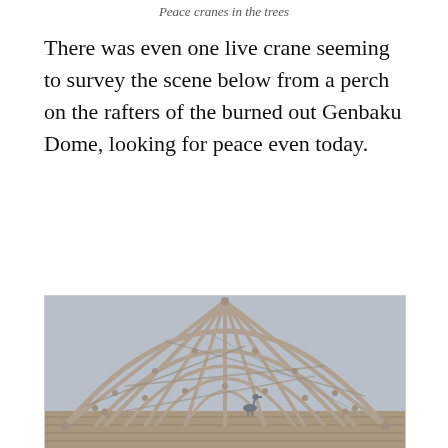Peace cranes in the trees
There was even one live crane seeming to survey the scene below from a perch on the rafters of the burned out Genbaku Dome, looking for peace even today.
[Figure (photo): Photograph of the skeletal dome structure of the Genbaku Dome (Hiroshima Peace Memorial) with a crane bird perched on the lower rim of the ruined dome framework against a gray sky.]